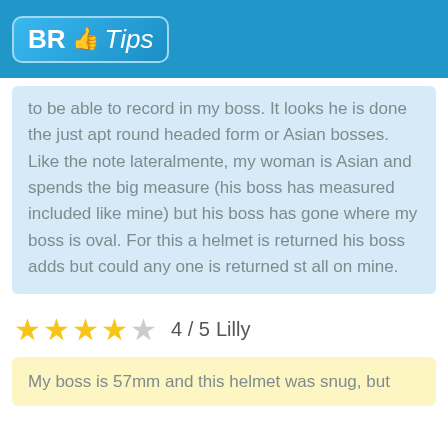[Figure (logo): BR Tips logo with thumbs up icon on blue background]
to be able to record in my boss. It looks he is done the just apt round headed form or Asian bosses. Like the note lateralmente, my woman is Asian and spends the big measure (his boss has measured included like mine) but his boss has gone where my boss is oval. For this a helmet is returned his boss adds but could any one is returned st all on mine.
★★★★☆ 4 / 5  Lilly
My boss is 57mm and this helmet was snug, but